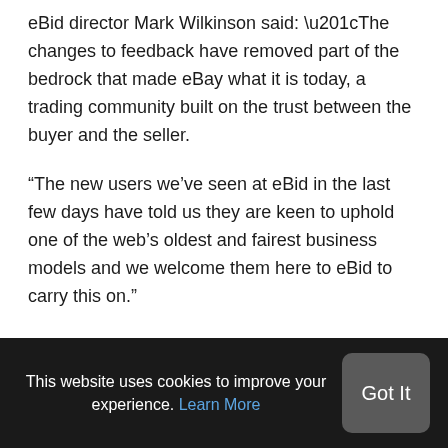eBid director Mark Wilkinson said: “The changes to feedback have removed part of the bedrock that made eBay what it is today, a trading community built on the trust between the buyer and the seller.
“The new users we’ve seen at eBid in the last few days have told us they are keen to uphold one of the web’s oldest and fairest business models and we welcome them here to eBid to carry this on.”
“Sellers already resent the charges they have to pay to auction items on the site but this latest move means they can’t even see which buyers have proved
This website uses cookies to improve your experience. Learn More